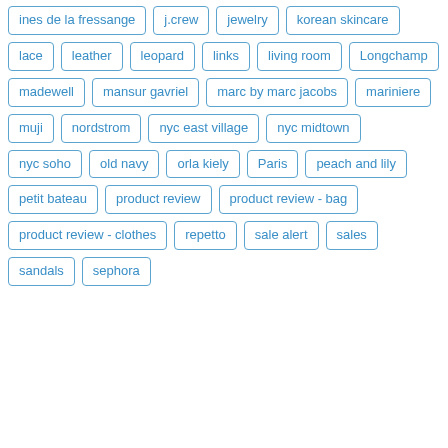ines de la fressange
j.crew
jewelry
korean skincare
lace
leather
leopard
links
living room
Longchamp
madewell
mansur gavriel
marc by marc jacobs
mariniere
muji
nordstrom
nyc east village
nyc midtown
nyc soho
old navy
orla kiely
Paris
peach and lily
petit bateau
product review
product review - bag
product review - clothes
repetto
sale alert
sales
sandals
sephora